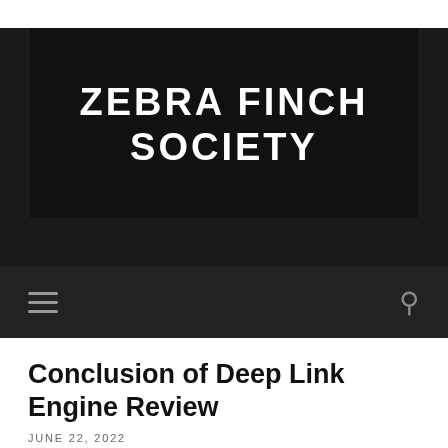ZEBRA FINCH SOCIETY
Conclusion of Deep Link Engine Review
JUNE 22, 2022
Well here we are a month after the fact in the wake of introducing Deep Link Engine. In that period we have broadly audited the module. The creators of Deep Link Engine have refreshed their module multiple